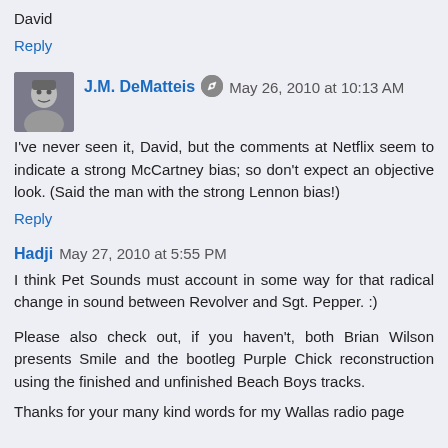David
Reply
J.M. DeMatteis  May 26, 2010 at 10:13 AM
I've never seen it, David, but the comments at Netflix seem to indicate a strong McCartney bias; so don't expect an objective look. (Said the man with the strong Lennon bias!)
Reply
Hadji  May 27, 2010 at 5:55 PM
I think Pet Sounds must account in some way for that radical change in sound between Revolver and Sgt. Pepper. :)
Please also check out, if you haven't, both Brian Wilson presents Smile and the bootleg Purple Chick reconstruction using the finished and unfinished Beach Boys tracks.
Thanks for your many kind words for my Wallas radio page